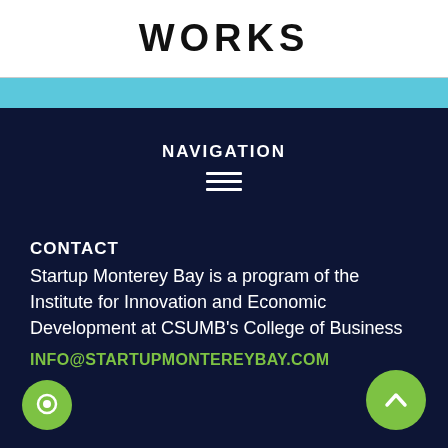WORKS
NAVIGATION
CONTACT
Startup Monterey Bay is a program of the Institute for Innovation and Economic Development at CSUMB's College of Business
INFO@STARTUPMONTEREYBAY.COM